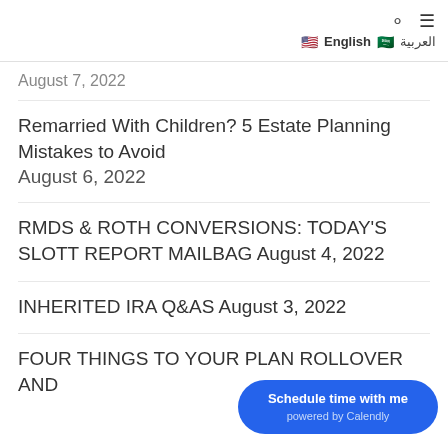English | العربية
August 7, 2022
Remarried With Children? 5 Estate Planning Mistakes to Avoid August 6, 2022
RMDS & ROTH CONVERSIONS: TODAY'S SLOTT REPORT MAILBAG August 4, 2022
INHERITED IRA Q&AS August 3, 2022
FOUR THINGS TO YOUR PLAN ROLLOVER AND
Schedule time with me powered by Calendly